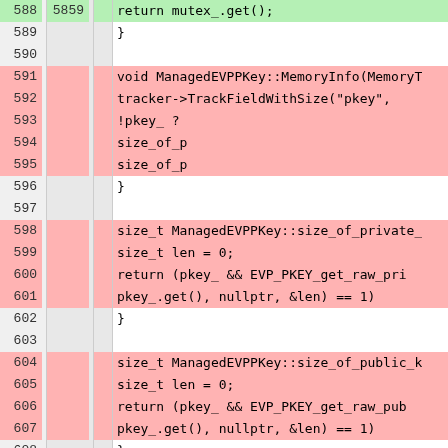[Figure (screenshot): Code diff view showing C++ source lines 588–614 with line numbers, old line numbers, change markers, and colored backgrounds (green for additions, pink/red for deletions, white for context). Code includes functions like ManagedEVPPKey::MemoryInfo, size_of_private, size_of_public_key, and Tristate.]